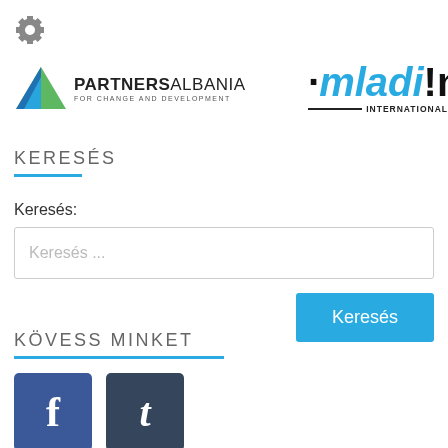[Figure (logo): Gear/settings icon in top left corner]
[Figure (logo): Partners Albania for Change and Development logo with green/blue triangle icon and text]
[Figure (logo): mladi!nfo INTERNATIONAL logo in cyan and black]
KERESÉS
Keresés:
Keresés ...
Keresés
KÖVESS MINKET
[Figure (logo): Facebook icon button (f) in dark blue]
[Figure (logo): Tumblr icon button (t) in dark navy blue]